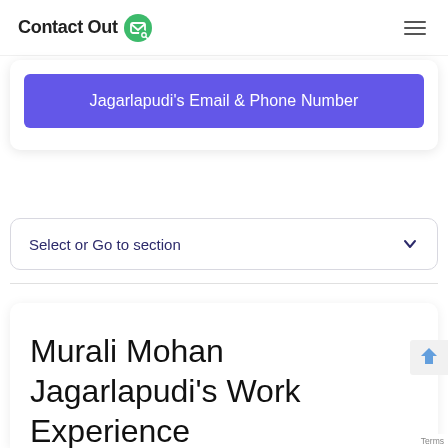Contact Out
Jagarlapudi's Email & Phone Number
Select or Go to section
Murali Mohan Jagarlapudi's Work Experience